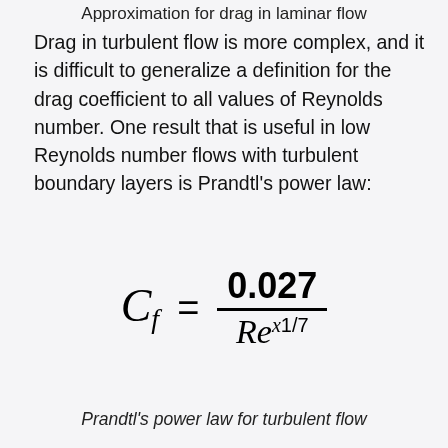Approximation for drag in laminar flow
Drag in turbulent flow is more complex, and it is difficult to generalize a definition for the drag coefficient to all values of Reynolds number. One result that is useful in low Reynolds number flows with turbulent boundary layers is Prandtl's power law:
Prandtl's power law for turbulent flow